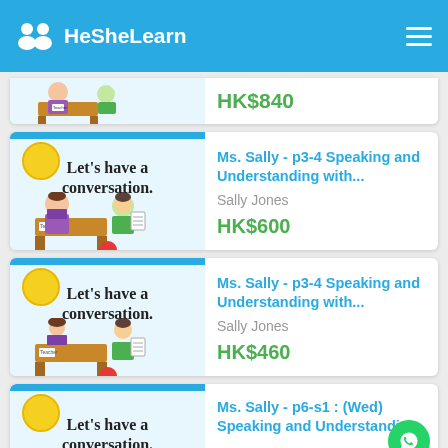HeSheLearn
[Figure (screenshot): Partial course card with HK$840 price visible at top]
Ms. Sally - p3-4 Speaking and Understanding with...
Sally Jones
HK$600
Ms. Sally - p3-4 Speaking and Understanding with...
Sally Jones
HK$460
Ms. Sally - p6-s1 : (Wed) Speaking and Understandin...